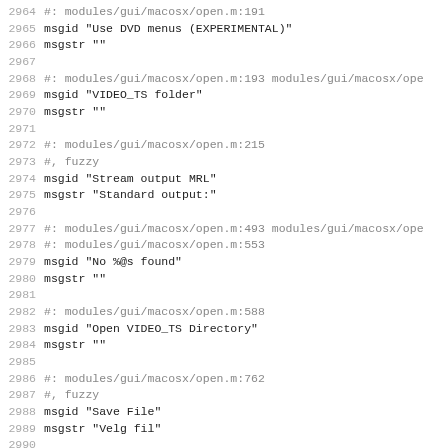2964 #: modules/gui/macosx/open.m:191
2965 msgid "Use DVD menus (EXPERIMENTAL)"
2966 msgstr ""
2967
2968 #: modules/gui/macosx/open.m:193 modules/gui/macosx/ope
2969 msgid "VIDEO_TS folder"
2970 msgstr ""
2971
2972 #: modules/gui/macosx/open.m:215
2973 #, fuzzy
2974 msgid "Stream output MRL"
2975 msgstr "Standard output:"
2976
2977 #: modules/gui/macosx/open.m:493 modules/gui/macosx/ope
2978 #: modules/gui/macosx/open.m:553
2979 msgid "No %@s found"
2980 msgstr ""
2981
2982 #: modules/gui/macosx/open.m:588
2983 msgid "Open VIDEO_TS Directory"
2984 msgstr ""
2985
2986 #: modules/gui/macosx/open.m:762
2987 #, fuzzy
2988 msgid "Save File"
2989 msgstr "Velg fil"
2990
2991 #: modules/gui/macosx/controls.m:583
2992 #, fuzzy
2993 msgid "Open subtitlefile"
2994 msgstr "Velg teksting kanal"
2995